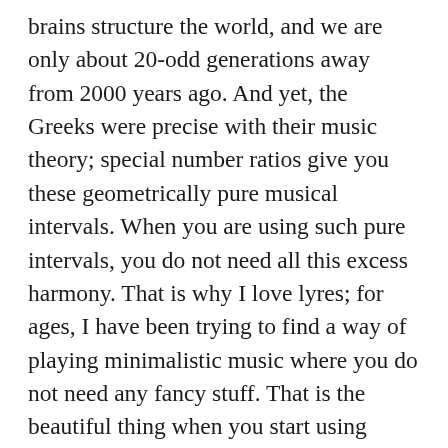brains structure the world, and we are only about 20-odd generations away from 2000 years ago. And yet, the Greeks were precise with their music theory; special number ratios give you these geometrically pure musical intervals. When you are using such pure intervals, you do not need all this excess harmony. That is why I love lyres; for ages, I have been trying to find a way of playing minimalistic music where you do not need any fancy stuff. That is the beautiful thing when you start using these pure intonations, you do not need anything more complicated. A perfect fifth in just intonation perfectly frames the melody, and it frees up your creativity to do whatever you want with the melody line. So that is why I use these wonderful modes and intonations.